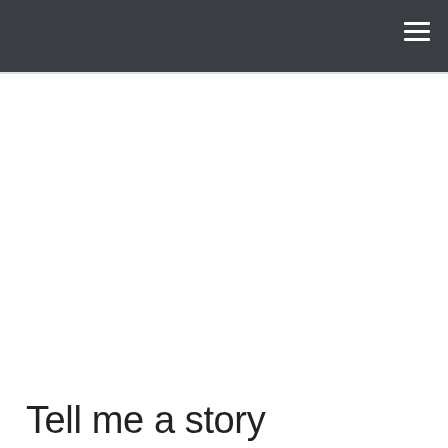PHOTOS / STAND ALONE  JUNE 5, 2010
Tell me a story